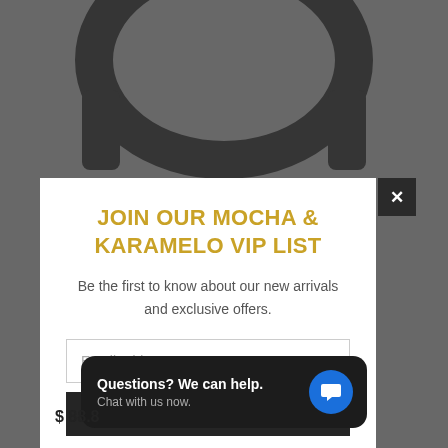[Figure (screenshot): E-commerce website background showing a product (headphone/accessory) at top center and a product image at bottom left with price $88.8x]
JOIN OUR MOCHA & KARAMELO VIP LIST
Be the first to know about our new arrivals and exclusive offers.
Email address
SIGN UP
[Figure (infographic): Social media icons: Facebook, Twitter, Instagram, YouTube in gold color]
Questions? We can help. Chat with us now.